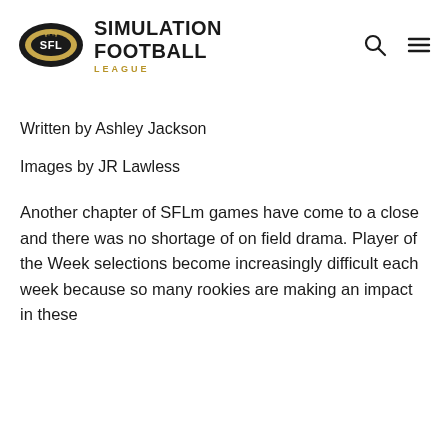[Figure (logo): Simulation Football League (SFL) logo — football eye shape in black and gold with SFL text inside, next to bold text 'SIMULATION FOOTBALL LEAGUE' in black and gold]
Written by Ashley Jackson
Images by JR Lawless
Another chapter of SFLm games have come to a close and there was no shortage of on field drama. Player of the Week selections become increasingly difficult each week because so many rookies are making an impact in these